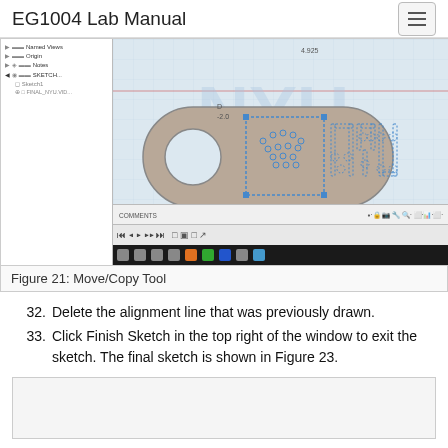EG1004 Lab Manual
[Figure (screenshot): SolidWorks CAD interface showing a NYU-branded lanyard badge with Move/Copy Tool active. Left panel shows feature tree with items including Named Views, Origin, Notes, and SKETCH elements. Main viewport shows a tan/beige elongated badge shape with a circular hole on the left and dotted-outline NYU logo (lightbulb icon and 'NYU' text) on the right. Bottom shows playback toolbar and Windows taskbar.]
Figure 21: Move/Copy Tool
32. Delete the alignment line that was previously drawn.
33. Click Finish Sketch in the top right of the window to exit the sketch. The final sketch is shown in Figure 23.
[Figure (screenshot): Bottom portion of a SolidWorks window, partially visible, showing a light grey workspace area (the beginning of Figure 23).]